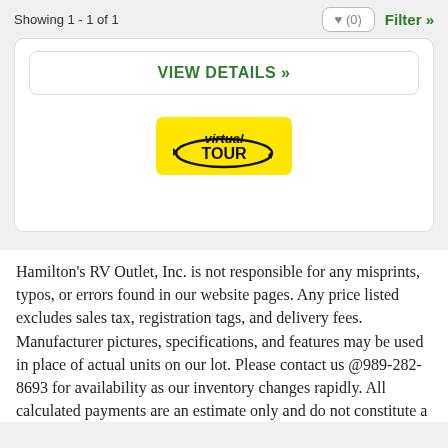Showing 1 - 1 of 1
VIEW DETAILS »
[Figure (logo): Virtual Tour badge: yellow rounded rectangle with 'virtual TOUR' text and arrow/orbit graphic]
Hamilton's RV Outlet, Inc. is not responsible for any misprints, typos, or errors found in our website pages. Any price listed excludes sales tax, registration tags, and delivery fees. Manufacturer pictures, specifications, and features may be used in place of actual units on our lot. Please contact us @989-282-8693 for availability as our inventory changes rapidly. All calculated payments are an estimate only and do not constitute a